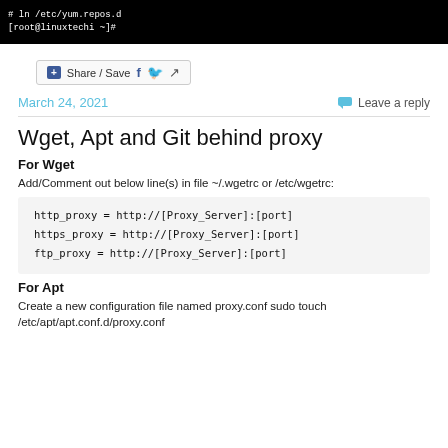[Figure (screenshot): Terminal screenshot showing command lines: '# ln /etc/yum.repos.d' and '[root@linuxtechi ~]#' on black background]
+ Share / Save [Facebook] [Twitter] [Share]
March 24, 2021
Leave a reply
Wget, Apt and Git behind proxy
For Wget
Add/Comment out below line(s) in file ~/.wgetrc or /etc/wgetrc:
http_proxy = http://[Proxy_Server]:[port]
https_proxy = http://[Proxy_Server]:[port]
ftp_proxy = http://[Proxy_Server]:[port]
For Apt
Create a new configuration file named proxy.conf sudo touch /etc/apt/apt.conf.d/proxy.conf